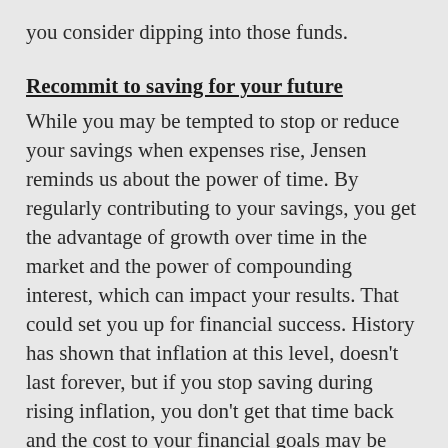you consider dipping into those funds.
Recommit to saving for your future
While you may be tempted to stop or reduce your savings when expenses rise, Jensen reminds us about the power of time. By regularly contributing to your savings, you get the advantage of growth over time in the market and the power of compounding interest, which can impact your results. That could set you up for financial success. History has shown that inflation at this level, doesn't last forever, but if you stop saving during rising inflation, you don't get that time back and the cost to your financial goals may be long lasting.
http://usatoday.com/countryfinancial